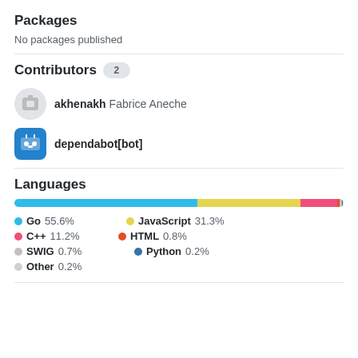Packages
No packages published
Contributors 2
akhenakh Fabrice Aneche
dependabot[bot]
Languages
[Figure (stacked-bar-chart): Languages bar]
Go 55.6%
JavaScript 31.3%
C++ 11.2%
HTML 0.8%
SWIG 0.7%
Python 0.2%
Other 0.2%